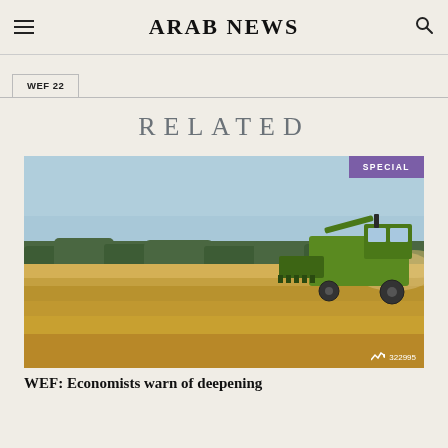ARAB NEWS
WEF 22
RELATED
[Figure (photo): A green combine harvester working in a golden wheat field under a light blue sky, with a line of trees in the background. A 'SPECIAL' badge appears in the top right corner, and a view count of 322995 appears in the bottom right.]
WEF: Economists warn of deepening